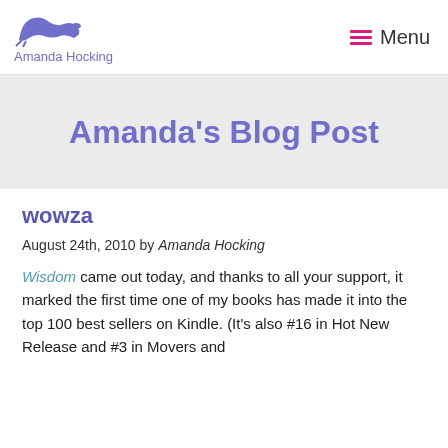Amanda Hocking | Menu
Amanda's Blog Post
wowza
August 24th, 2010 by Amanda Hocking
Wisdom came out today, and thanks to all your support, it marked the first time one of my books has made it into the top 100 best sellers on Kindle. (It's also #16 in Hot New Release and #3 in Movers and